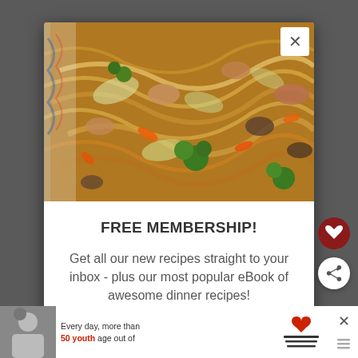[Figure (photo): Close-up photo of a stir-fry dish with noodles, chicken, broccoli, carrots, mushrooms and cabbage in a colorful bowl]
FREE MEMBERSHIP!
Get all our new recipes straight to your inbox - plus our most popular eBook of awesome dinner recipes!
[Figure (infographic): Advertisement banner: 'Every day, more than 50 youth age out of' with Dave Thomas Foundation for Adoption logo and a photo of a young person]